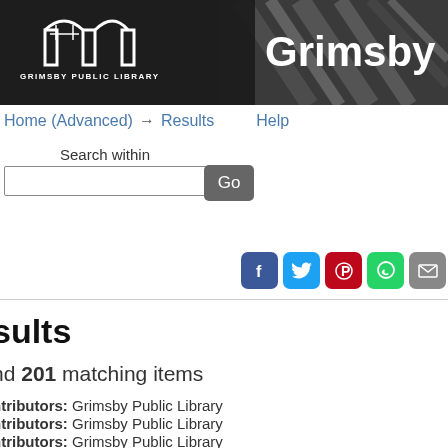[Figure (screenshot): Grimsby Public Library website header banner with library logo on dark background and partial 'Grimsby' title text in white, with a blurred books photo in the background on the right side.]
GRIMSBY PUBLIC LIBRARY
Home (Advanced) → Results    Help
Search within
Go
sults
nd 201 matching items
ntributors: Grimsby Public Library
ntributors: Grimsby Public Library
ntributors: Grimsby Public Library